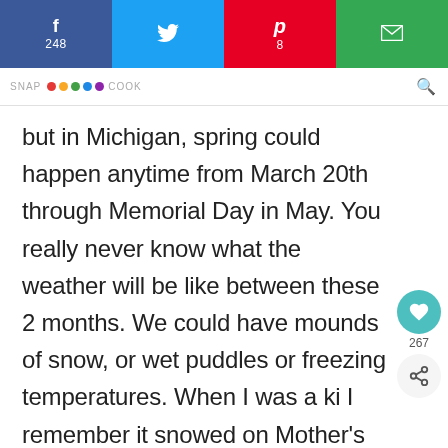[Figure (screenshot): Social sharing bar with Facebook (248), Twitter, Pinterest (p8), and Email buttons]
SNAPF... COOK (navigation bar with colored dots and search icon)
but in Michigan, spring could happen anytime from March 20th through Memorial Day in May. You really never know what the weather will be like between these 2 months. We could have mounds of snow, or wet puddles or freezing temperatures. When I was a ki I remember it snowed on Mother's Day. But with daylight savings time making the days seem so much longer, I'm